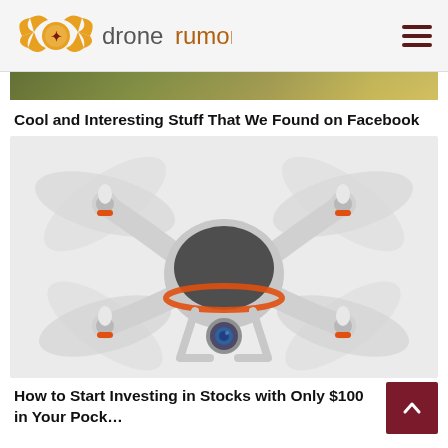dronerumor
[Figure (photo): Outdoor background landscape strip — blurred green/yellow foliage]
Cool and Interesting Stuff That We Found on Facebook
[Figure (photo): White quadcopter drone with camera gimbal, viewed from above-front angle, showing four propellers, orange motor rings, dark body center, and blue camera lens on underside. White background.]
How to Start Investing in Stocks with Only $100 in Your Pock…